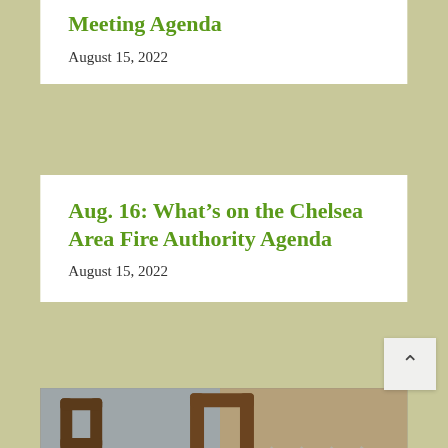Meeting Agenda
August 15, 2022
Aug. 16: What’s on the Chelsea Area Fire Authority Agenda
August 15, 2022
[Figure (photo): A golden-brown dog sitting at a dining table with wooden chairs in the background, appearing to hold something in its mouth.]